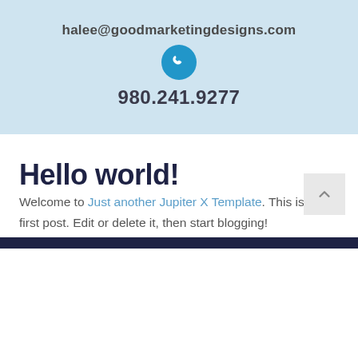halee@goodmarketingdesigns.com
[Figure (illustration): Blue circle with white phone/handset icon]
980.241.9277
Hello world!
Welcome to Just another Jupiter X Template. This is your first post. Edit or delete it, then start blogging!